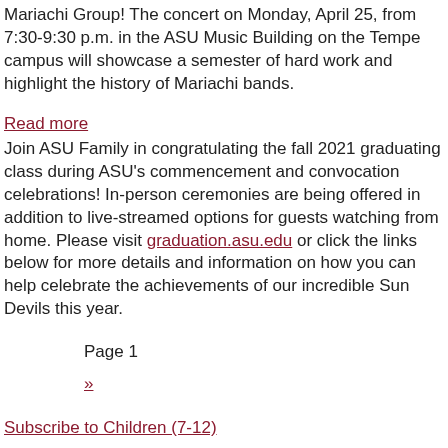Mariachi Group! The concert on Monday, April 25, from 7:30-9:30 p.m. in the ASU Music Building on the Tempe campus will showcase a semester of hard work and highlight the history of Mariachi bands.
Read more
Join ASU Family in congratulating the fall 2021 graduating class during ASU's commencement and convocation celebrations! In-person ceremonies are being offered in addition to live-streamed options for guests watching from home. Please visit graduation.asu.edu or click the links below for more details and information on how you can help celebrate the achievements of our incredible Sun Devils this year.
Page 1
»
Subscribe to Children (7-12)